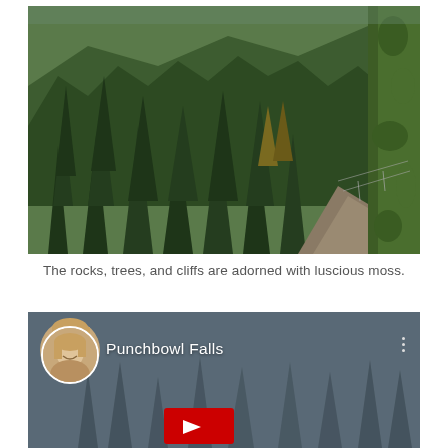[Figure (photo): Aerial view of a forested mountain trail with dense evergreen trees, a dirt path curving near a moss-covered cliff face on the right side]
The rocks, trees, and cliffs are adorned with luscious moss.
[Figure (screenshot): Video thumbnail for 'Punchbowl Falls' showing a misty forest with tall trees, a circular avatar photo of a woman, and a red YouTube play button at the bottom]